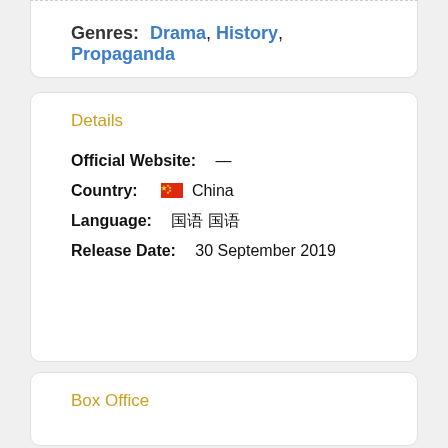Genres: Drama, History, Propaganda
Details
Official Website: —
Country: China
Language: 国语
Release Date: 30 September 2019
Box Office
Company Credits